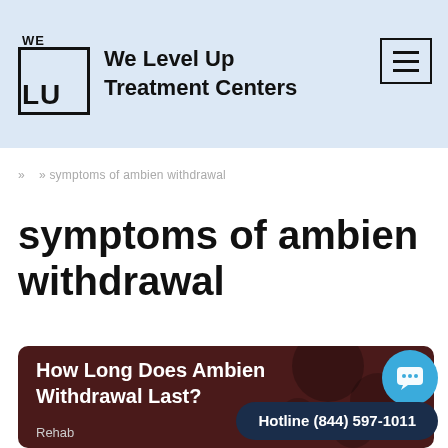We Level Up Treatment Centers
» » symptoms of ambien withdrawal
symptoms of ambien withdrawal
How Long Does Ambien Withdrawal Last?
Rehab
Hotline (844) 597-1011